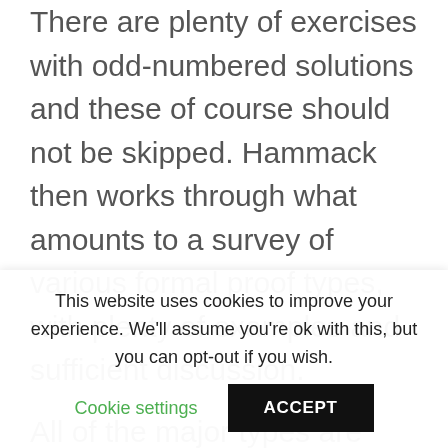There are plenty of exercises with odd-numbered solutions and these of course should not be skipped. Hammack then works through what amounts to a survey of various formal proof types, with plenty of examples and sufficient discussion.
All of the major types are covered. My one minor criticism is that I think proof by induction could have used more attention, but you can supplement that elsewhere if
This website uses cookies to improve your experience. We'll assume you're ok with this, but you can opt-out if you wish. Cookie settings ACCEPT